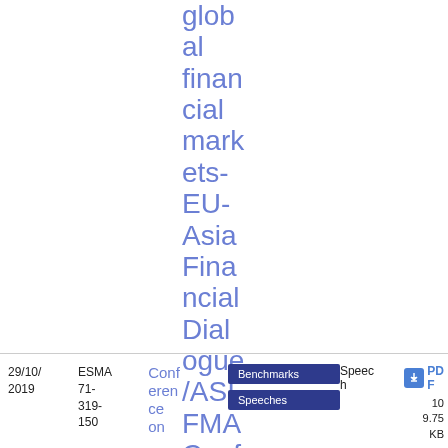global financial markets- EU-Asia Financial Dialogue/ASIFMA Conference
| Date | Reference | Title | Tags | Type | Download |
| --- | --- | --- | --- | --- | --- |
| 29/10/2019 | ESMA 71-319-150 | Conference on ... | Benchmarks, Speeches | Speech | PDF 10 9.75 KB |